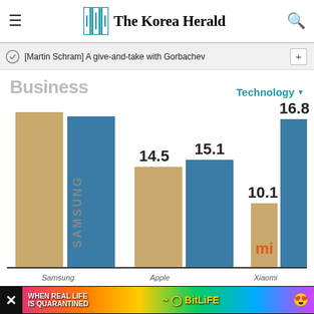The Korea Herald
[Martin Schram] A give-and-take with Gorbachev
Business
Technology
[Figure (grouped-bar-chart): Smartphone market share]
Samsung   Apple   Xiaomi